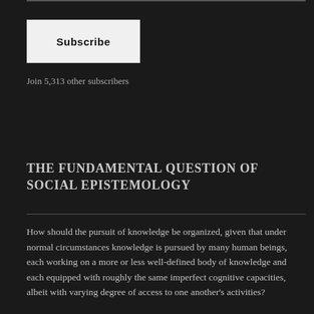Subscribe
Join 5,313 other subscribers
THE FUNDAMENTAL QUESTION OF SOCIAL EPISTEMOLOGY
How should the pursuit of knowledge be organized, given that under normal circumstances knowledge is pursued by many human beings, each working on a more or less well-defined body of knowledge and each equipped with roughly the same imperfect cognitive capacities, albeit with varying degree of access to one another's activities?